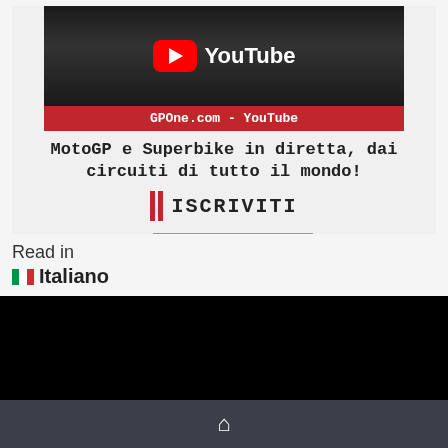[Figure (screenshot): YouTube banner with MotoGP riders image, YouTube play button and wordmark, GPOne.com YouTube red label, Italian text about MotoGP and Superbike, ISCRIVITI subscribe call to action]
Read in
🇮🇹 Italiano
[Figure (photo): Black video player area]
🏠 home icon navigation bar